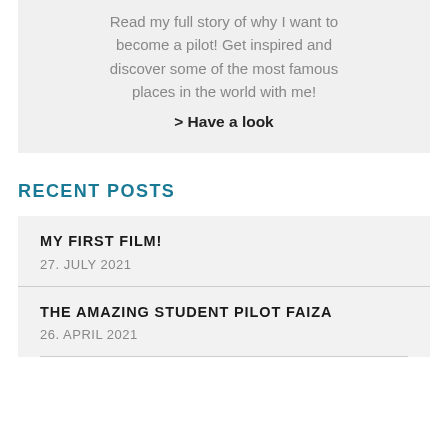Read my full story of why I want to become a pilot! Get inspired and discover some of the most famous places in the world with me!
> Have a look
RECENT POSTS
MY FIRST FILM!
27. JULY 2021
THE AMAZING STUDENT PILOT FAIZA
26. APRIL 2021